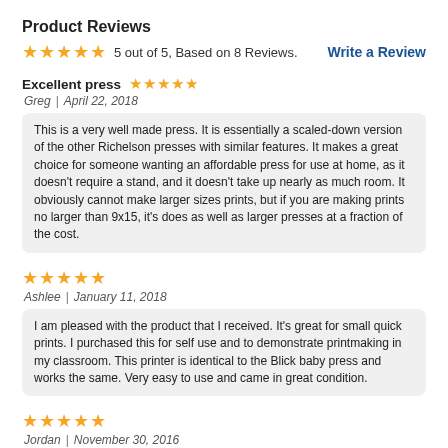Product Reviews
★★★★★ 5 out of 5, Based on 8 Reviews.    Write a Review
Excellent press ★★★★★
Greg | April 22, 2018
This is a very well made press. It is essentially a scaled-down version of the other Richelson presses with similar features. It makes a great choice for someone wanting an affordable press for use at home, as it doesn't require a stand, and it doesn't take up nearly as much room. It obviously cannot make larger sizes prints, but if you are making prints no larger than 9x15, it's does as well as larger presses at a fraction of the cost.
★★★★★
Ashlee | January 11, 2018
I am pleased with the product that I received. It's great for small quick prints. I purchased this for self use and to demonstrate printmaking in my classroom. This printer is identical to the Blick baby press and works the same. Very easy to use and came in great condition.
★★★★★
Jordan | November 30, 2016
This is exactly what I was looking for and it arrived so fast! I am a teaching artist for the state arts council and wanted something that I could take to